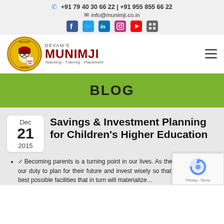+91 79 40 30 66 22 | +91 955 855 66 22  info@munimji.co.in
[Figure (logo): Devam's Munimji logo with circular mascot illustration and text: DEVAM'S MUNIMJI Teaching·Training·Placement]
BLOG
Savings & Investment Planning for Children's Higher Education
Becoming parents is a turning point in our lives. As their guardians, it is our duty to plan for their future and invest wisely so that they receive the best possible facilities that in turn will materialize...